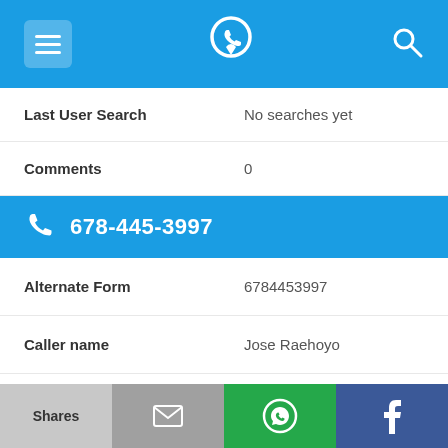[Figure (screenshot): Mobile app top navigation bar with menu icon, phone/location logo, and search icon on blue background]
Last User Search	No searches yet
Comments	0
678-445-3997
Alternate Form	6784453997
Caller name	Jose Raehoyo
Last User Search	No searches yet
Comments	0
[Figure (screenshot): Bottom share bar with Shares, email, WhatsApp, and Facebook buttons]